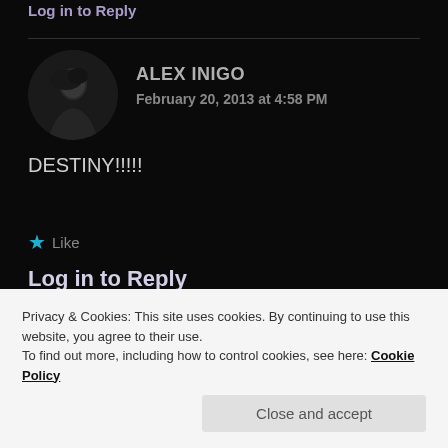Log in to Reply
[Figure (photo): Circular avatar photo of a person with dark hair in silhouette against dark background]
ALEX INIGO
February 20, 2013 at 4:58 PM
DESTINY!!!!!
★ Like
Log in to Reply
Privacy & Cookies: This site uses cookies. By continuing to use this website, you agree to their use.
To find out more, including how to control cookies, see here: Cookie Policy
Close and accept